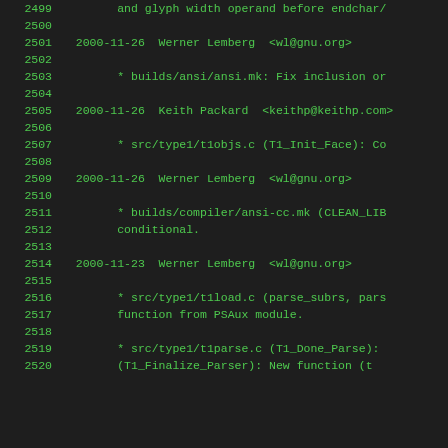2499    and glyph width operand before endchar/
2500
2501  2000-11-26  Werner Lemberg  <wl@gnu.org>
2502
2503        * builds/ansi/ansi.mk: Fix inclusion or
2504
2505  2000-11-26  Keith Packard  <keithp@keithp.com>
2506
2507        * src/type1/t1objs.c (T1_Init_Face): Co
2508
2509  2000-11-26  Werner Lemberg  <wl@gnu.org>
2510
2511        * builds/compiler/ansi-cc.mk (CLEAN_LIB
2512        conditional.
2513
2514  2000-11-23  Werner Lemberg  <wl@gnu.org>
2515
2516        * src/type1/t1load.c (parse_subrs, pars
2517        function from PSAux module.
2518
2519        * src/type1/t1parse.c (T1_Done_Parse):
2520        (T1_Finalize_Parser): New function (t